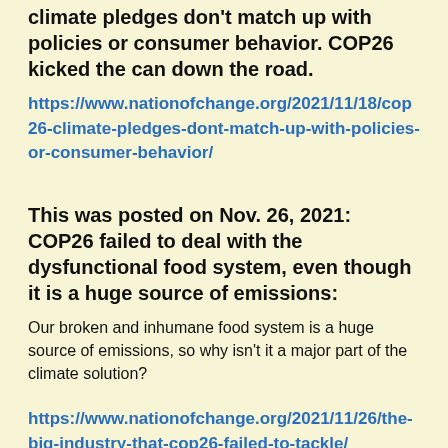climate pledges don't match up with policies or consumer behavior. COP26 kicked the can down the road.
https://www.nationofchange.org/2021/11/18/cop26-climate-pledges-dont-match-up-with-policies-or-consumer-behavior/
This was posted on Nov. 26, 2021:  COP26 failed to deal with the dysfunctional food system, even though it is a huge source of emissions:
Our broken and inhumane food system is a huge source of emissions, so why isn't it a major part of the climate solution?
https://www.nationofchange.org/2021/11/26/the-big-industry-that-cop26-failed-to-tackle/
At COP 26, A Bigger, Stronger Climate Movement Made Its Mark: